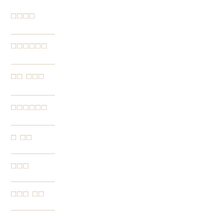□□□□
□□□□□□
□□ □□□
□□□□□□
□ □□
□□□
□□□ □□
□□□□□□
□ □□